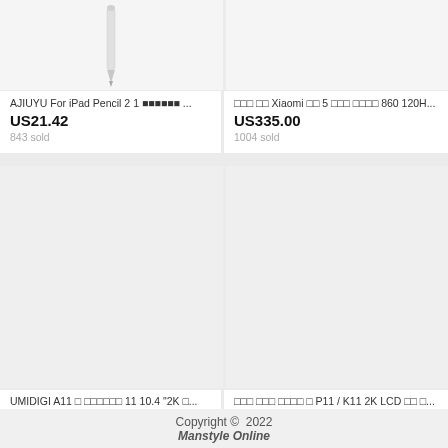[Figure (photo): Product image for AJIUYU iPad Pencil, showing a stylus/pencil shape on white/light gray background]
AJIUYU For iPad Pencil 2 1 ᠋᠋᠋᠋᠋᠋ ...
US21.42
843 sold
[Figure (photo): Product image for Xiaomi Mi 5 tablet on light background]
᠋᠋᠋ ᠋᠋ Xiaomi ᠋᠋ 5 ᠋᠋᠋ ᠋᠋᠋᠋ 860 120H...
US335.00
1004 sold
[Figure (photo): Product image for UMIDIGI A11 tablet on light background]
UMIDIGI A11 ᠋ ᠋᠋᠋᠋᠋᠋ 11 10.4 "2K ᠋...
US174.99
619 sold
[Figure (photo): Product image for P11/K11 2K LCD tablet on gray background]
᠋᠋᠋ ᠋᠋᠋ ᠋᠋᠋᠋ ᠋ P11 / K11 2K LCD ᠋᠋ ᠋...
US168.87
7028 sold
Copyright © 2022 Manstyle Online